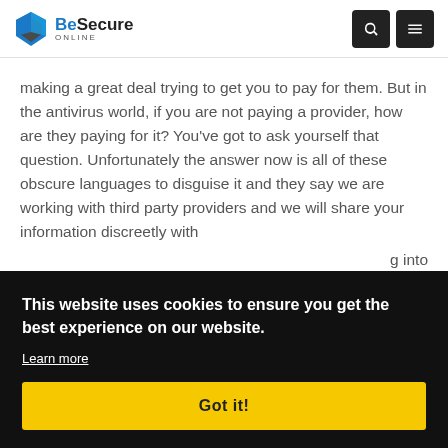BeSecure Online
making a great deal trying to get you to pay for them. But in the antivirus world, if you are not paying a provider, how are they paying for it? You've got to ask yourself that question. Unfortunately the answer now is all of these obscure languages to disguise it and they say we are working with third party providers and we will share your information discreetly with
This website uses cookies to ensure you get the best experience on our website.
Learn more
Got it!
your free internet services, one of which is your antivirus